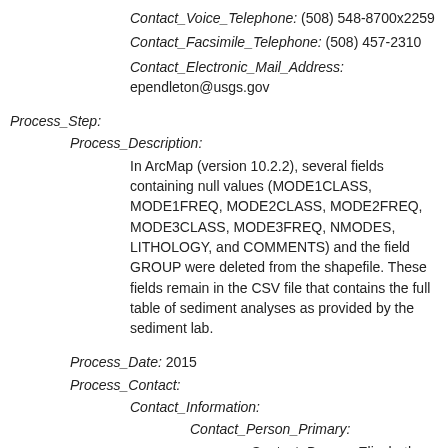Contact_Voice_Telephone: (508) 548-8700x2259
Contact_Facsimile_Telephone: (508) 457-2310
Contact_Electronic_Mail_Address: ependleton@usgs.gov
Process_Step:
Process_Description:
In ArcMap (version 10.2.2), several fields containing null values (MODE1CLASS, MODE1FREQ, MODE2CLASS, MODE2FREQ, MODE3CLASS, MODE3FREQ, NMODES, LITHOLOGY, and COMMENTS) and the field GROUP were deleted from the shapefile. These fields remain in the CSV file that contains the full table of sediment analyses as provided by the sediment lab.
Process_Date: 2015
Process_Contact:
Contact_Information:
Contact_Person_Primary:
Contact_Person: Elizabeth Pendleton